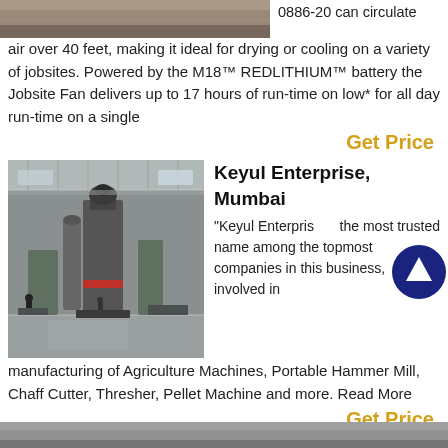[Figure (photo): Top partial photo of industrial/construction machinery on a jobsite]
0886-20 can circulate air over 40 feet, making it ideal for drying or cooling on a variety of jobsites. Powered by the M18™ REDLITHIUM™ battery the Jobsite Fan delivers up to 17 hours of run-time on low* for all day run-time on a single
Get Price
[Figure (photo): Industrial factory interior with large milling/grinding machinery, tall ceilings and equipment]
Keyul Enterprise, Mumbai
"Keyul Enterprise is the most trusted name among the topmost companies in this business, involved in manufacturing of Agriculture Machines, Portable Hammer Mill, Chaff Cutter, Thresher, Pellet Machine and more. Read More
Get Price
[Figure (photo): Partial photo at the bottom of the page, industrial machinery]